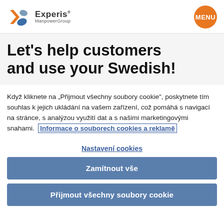Experis ManpowerGroup | MENU
Let's help customers and use your Swedish!
Když kliknete na „Přijmout všechny soubory cookie", poskytnete tím souhlas k jejich ukládání na vašem zařízení, což pomáhá s navigací na stránce, s analýzou využití dat a s našimi marketingovými snahami. Informace o souborech cookies a reklamě
Nastavení cookies
Zamítnout vše
Přijmout všechny soubory cookie